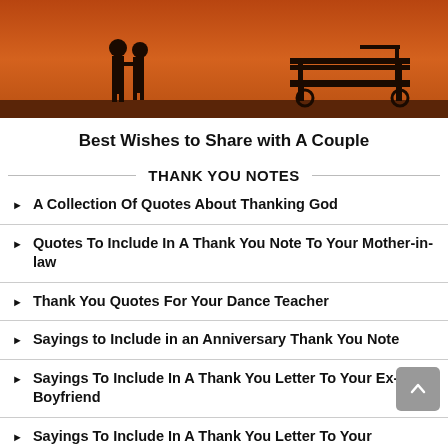[Figure (photo): Silhouette of a couple standing near a park bench against an orange sunset background]
Best Wishes to Share with A Couple
THANK YOU NOTES
A Collection Of Quotes About Thanking God
Quotes To Include In A Thank You Note To Your Mother-in-law
Thank You Quotes For Your Dance Teacher
Sayings to Include in an Anniversary Thank You Note
Sayings To Include In A Thank You Letter To Your Ex-Boyfriend
Sayings To Include In A Thank You Letter To Your